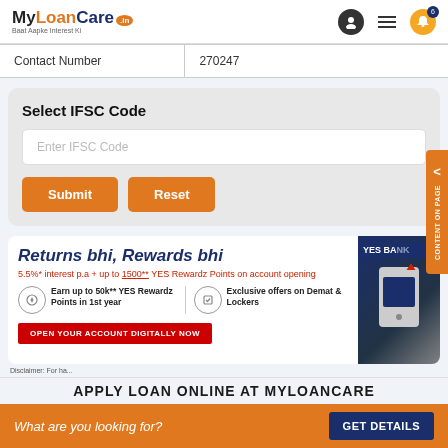MyLoanCare.in - Baat Aapke Interest Ki
| Contact Number | 270247 |
| --- | --- |
Select IFSC Code
Enter IFSC Code
Submit | Reset
[Figure (screenshot): YES Bank advertisement banner - Returns bhi, Rewards bhi. 5.5%* interest p.a + up to 1500** YES Rewardz Points on account opening. Earn up to 50k** YES Rewardz Points in 1st year. Exclusive offers on Demat & Lockers. Open your account digitally now.]
Disclaimer: For ha...
APPLY LOAN ONLINE AT MYLOANCARE
What are you looking for? GET DETAILS